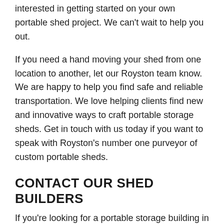…pop up and on your trailer. Contact us today if you are interested in getting started on your own portable shed project. We can't wait to help you out.
If you need a hand moving your shed from one location to another, let our Royston team know. We are happy to help you find safe and reliable transportation. We love helping clients find new and innovative ways to craft portable storage sheds. Get in touch with us today if you want to speak with Royston's number one purveyor of custom portable sheds.
CONTACT OUR SHED BUILDERS
If you're looking for a portable storage building in Royston, look no further than Smart Shed. As a portable shed specialist, we build custom storage buildings tailored to your needs, wants, and budget. Whether you're looking for a garage for vehicles or a shed for gardening tools, we have you covered.